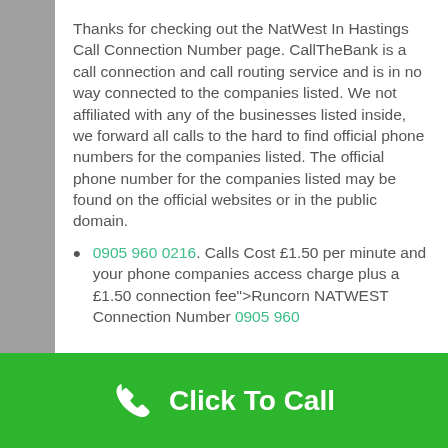Thanks for checking out the NatWest In Hastings Call Connection Number page. CallTheBank is a call connection and call routing service and is in no way connected to the companies listed. We not affiliated with any of the businesses listed inside, we forward all calls to the hard to find official phone numbers for the companies listed. The official phone number for the companies listed may be found on the official websites or in the public domain.
0905 960 0216. Calls Cost £1.50 per minute and your phone companies access charge plus a £1.50 connection fee">Runcorn NATWEST Connection Number 0905 960
Click To Call